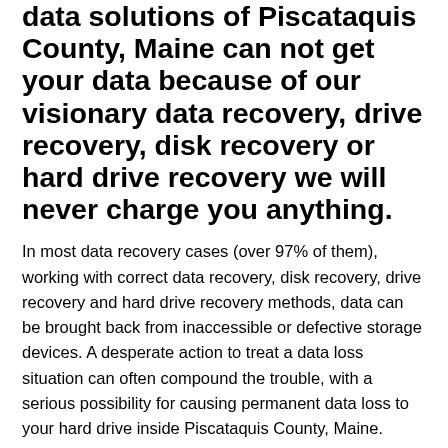data solutions of Piscataquis County, Maine can not get your data because of our visionary data recovery, drive recovery, disk recovery or hard drive recovery we will never charge you anything.
In most data recovery cases (over 97% of them), working with correct data recovery, disk recovery, drive recovery and hard drive recovery methods, data can be brought back from inaccessible or defective storage devices. A desperate action to treat a data loss situation can often compound the trouble, with a serious possibility for causing permanent data loss to your hard drive inside Piscataquis County, Maine.
All RTS data recovery, disk recovery, drive recovery and hard drive recovery jobs are remedied on an urgent basis inside Piscataquis County, Maine by RTS Data Recovery, Data